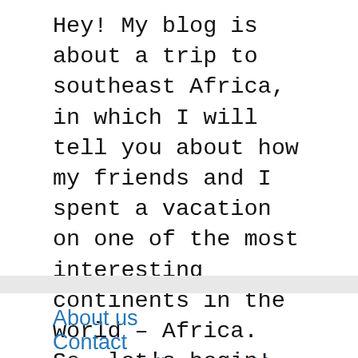Hey! My blog is about a trip to southeast Africa, in which I will tell you about how my friends and I spent a vacation on one of the most interesting continents in the world – Africa. So, let's begin!
About us
Contact
Privacy Policy & Cookies
ATTENTION TO RIGHT HOLDERS! All materials are posted on the site strictly for informational and educational purposes! If you believe that the posting of any material infringes your copyright, be sure to contact